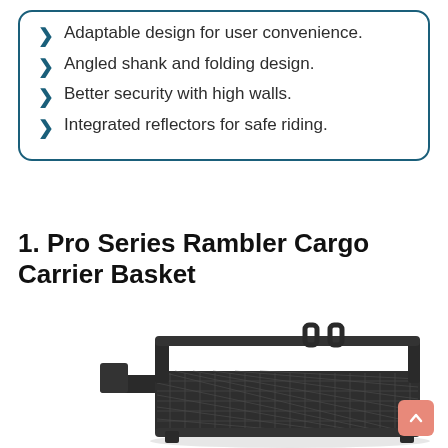Adaptable design for user convenience.
Angled shank and folding design.
Better security with high walls.
Integrated reflectors for safe riding.
1. Pro Series Rambler Cargo Carrier Basket
[Figure (photo): Photo of a black steel mesh cargo carrier basket with raised side walls and an angled hitch shank, shown on a white background.]